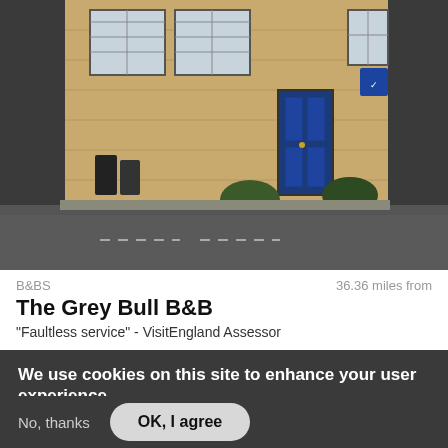[Figure (photo): Exterior photo of The Grey Bull B&B, a stone building with large windows, a blue front door, and a road in the foreground.]
B&BS	36.36 miles from
The Grey Bull B&B
"Faultless service" - VisitEngland Assessor
We use cookies on this site to enhance your user experience
By clicking the Ok button, you agree to us doing so.
No, give me more info.
No, thanks	OK, I agree